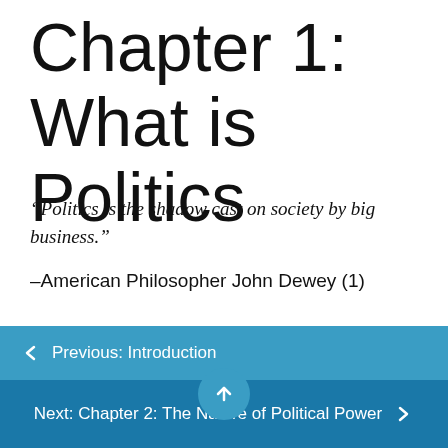Chapter 1: What is Politics
“Politics is the shadow cast on society by big business.”
–American Philosopher John Dewey (1)
The Definition of Politics
Political scientists study politics in its many
← Previous: Introduction
Next: Chapter 2: The Nature of Political Power →